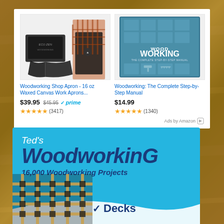[Figure (screenshot): Amazon product ad showing two products: Woodworking Shop Apron and Woodworking Complete Step-by-Step Manual book]
Woodworking Shop Apron - 16 oz Waxed Canvas Work Aprons...
$39.95 $45.95 prime
(3417)
Woodworking: The Complete Step-by-Step Manual
$14.99
(1340)
Ads by Amazon
[Figure (advertisement): Ted's WoodworkinG advertisement banner with '16,000 Woodworking Projects' and 'Decks' text on a blue background with wooden lattice illustration]